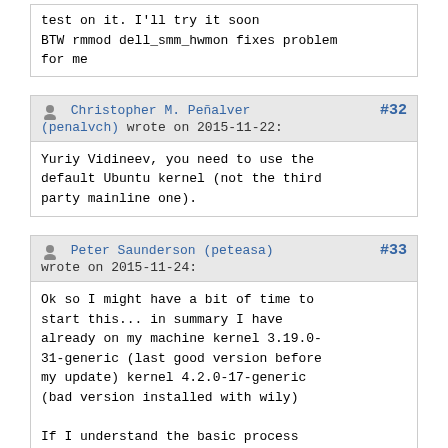test on it. I'll try it soon
BTW rmmod dell_smm_hwmon fixes problem for me
Christopher M. Peñalver (penalvch) wrote on 2015-11-22:  #32
Yuriy Vidineev, you need to use the default Ubuntu kernel (not the third party mainline one).
Peter Saunderson (peteasa) wrote on 2015-11-24:  #33
Ok so I might have a bit of time to start this... in summary I have already on my machine kernel 3.19.0-31-generic (last good version before my update) kernel 4.2.0-17-generic (bad version installed with wily)

If I understand the basic process (from reading https://wiki.ubuntu.com/Kernel/KernelBisection) I am to